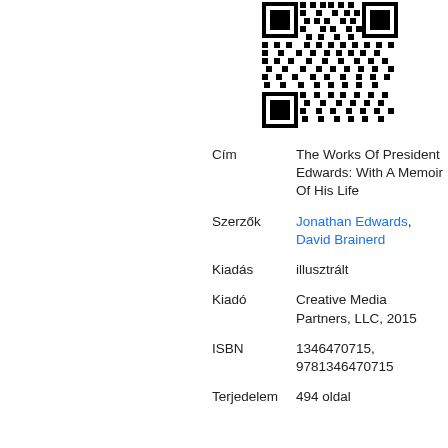[Figure (other): QR code in the upper right area of the page]
| Cím | The Works Of President Edwards: With A Memoir Of His Life |
| Szerzők | Jonathan Edwards, David Brainerd |
| Kiadás | illusztrált |
| Kiadó | Creative Media Partners, LLC, 2015 |
| ISBN | 1346470715, 9781346470715 |
| Terjedelem | 494 oldal |